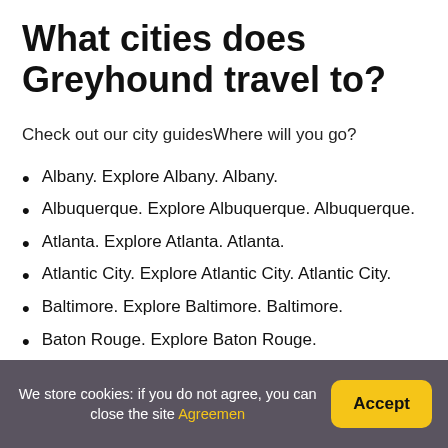What cities does Greyhound travel to?
Check out our city guidesWhere will you go?
Albany. Explore Albany. Albany.
Albuquerque. Explore Albuquerque. Albuquerque.
Atlanta. Explore Atlanta. Atlanta.
Atlantic City. Explore Atlantic City. Atlantic City.
Baltimore. Explore Baltimore. Baltimore.
Baton Rouge. Explore Baton Rouge.
Biloxi. Explore Biloxi.
Birmingham. Explore Birmingham.
We store cookies: if you do not agree, you can close the site Agreemen  Accept